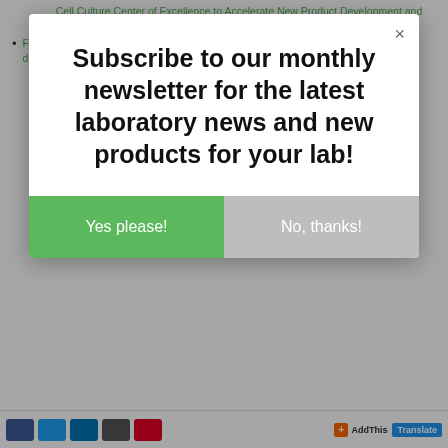Cell Culture Center of Excellence to Accelerate New Product Development and Broaden Service Offerings
FUJIFILM Irvine Scientific Launches BalanCD Gal Supplement for biotherapeutic development
Subscribe to our monthly newsletter for the latest laboratory news and new products for your lab!
Yes please!
No, thanks!